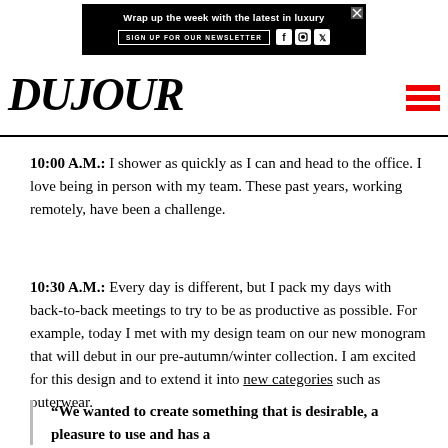[Figure (other): Black advertisement banner: 'Wrap up the week with the latest in luxury' with SIGN UP FOR OUR NEWSLETTER button and social media icons (Facebook, Instagram, Twitter), with X close button]
DUJOUR
10:00 A.M.: I shower as quickly as I can and head to the office. I love being in person with my team. These past years, working remotely, have been a challenge.
10:30 A.M.: Every day is different, but I pack my days with back-to-back meetings to try to be as productive as possible. For example, today I met with my design team on our new monogram that will debut in our pre-autumn/winter collection. I am excited for this design and to extend it into new categories such as outerwear.
“We wanted to create something that is desirable, a pleasure to use and has a